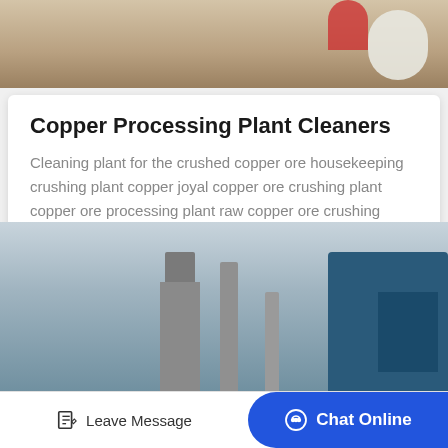[Figure (photo): Top portion of industrial site photo showing sandy/dusty area with white and red objects]
Copper Processing Plant Cleaners
Cleaning plant for the crushed copper ore housekeeping crushing plant copper joyal copper ore crushing plant copper ore processing plant raw copper ore crushing processlarge…
learn more
[Figure (photo): Industrial processing plant with tall concrete chimneys, multi-story concrete tower structure, and blue industrial equipment on the right]
Leave Message   Chat Online